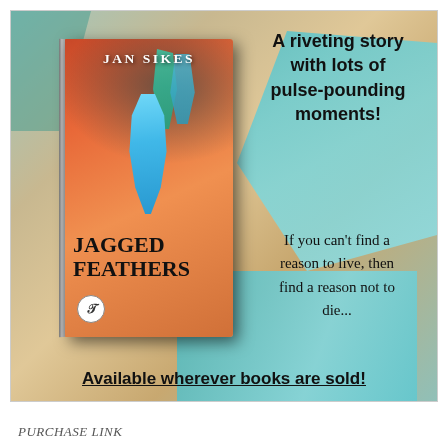[Figure (illustration): Book advertisement for 'Jagged Feathers' by Jan Sikes. Left side shows a 3D book cover with feathers and dreamcatcher imagery on a warm orange background. Right side has promotional text on a teal/cream feather background. Bottom text reads 'Available wherever books are sold!']
A riveting story with lots of pulse-pounding moments!
If you can't find a reason to live, then find a reason not to die...
Available wherever books are sold!
PURCHASE LINK